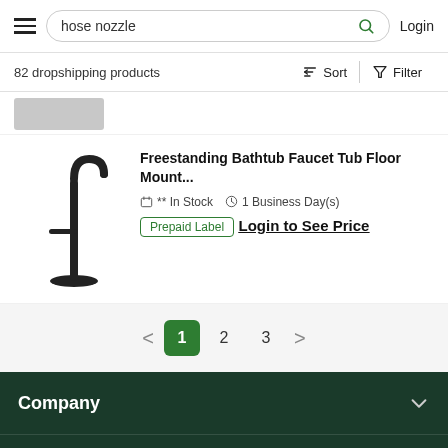hose nozzle | Login
82 dropshipping products
[Figure (photo): Partially visible product image at top of list]
Freestanding Bathtub Faucet Tub Floor Mount...
** In Stock  1 Business Day(s)
Prepaid Label
Login to See Price
< 1 2 3 >
Company
Resources